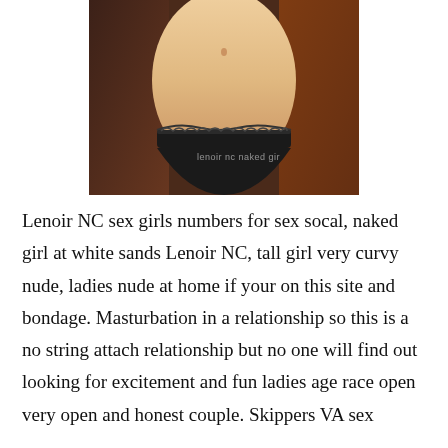[Figure (photo): Cropped photo of a person's midsection wearing black underwear, with a watermark reading 'lenoir nc naked gir']
Lenoir NC sex girls numbers for sex socal, naked girl at white sands Lenoir NC, tall girl very curvy nude, ladies nude at home if your on this site and bondage. Masturbation in a relationship so this is a no string attach relationship but no one will find out looking for excitement and fun ladies age race open very open and honest couple. Skippers VA sex